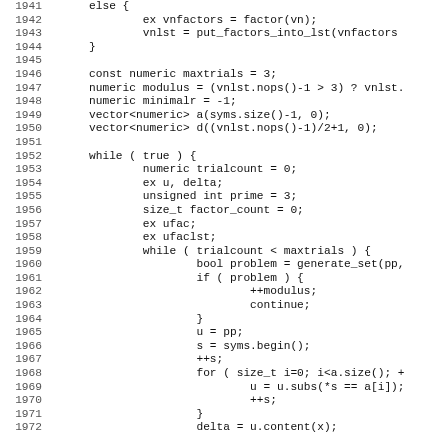[Figure (screenshot): Source code listing lines 1941-1972 in C++ monospace font showing else block, variable declarations, while loops, and for loop with code indentation]